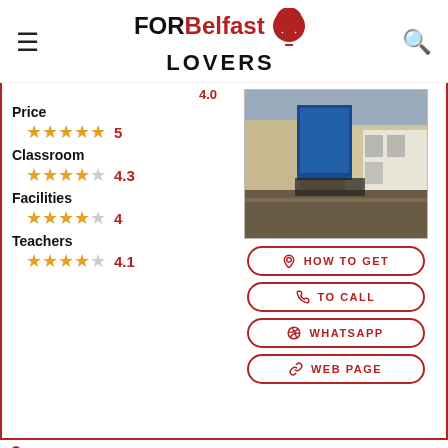FOR Belfast LOVERS
Price  5
Classroom  4.3
Facilities  4
Teachers  4.1
[Figure (photo): Street view photo of a Belfast location showing brick buildings and a blue mural/billboard]
HOW TO GET
TO CALL
WHATSAPP
WEB PAGE
Address: 4-34 Tower St, Belfast BT5 4EH, United